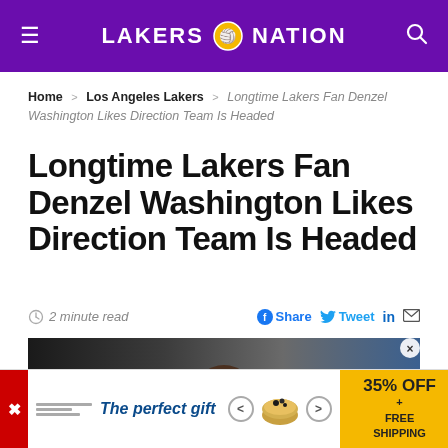LAKERS NATION
Home > Los Angeles Lakers > Longtime Lakers Fan Denzel Washington Likes Direction Team Is Headed
Longtime Lakers Fan Denzel Washington Likes Direction Team Is Headed
2 minute read
[Figure (photo): Photo of Denzel Washington, a man with dark curly hair visible from the shoulders up, blurred background]
[Figure (other): Advertisement banner: 'The perfect gift' with navigation arrows and product imagery, 35% OFF + FREE SHIPPING promo in yellow]